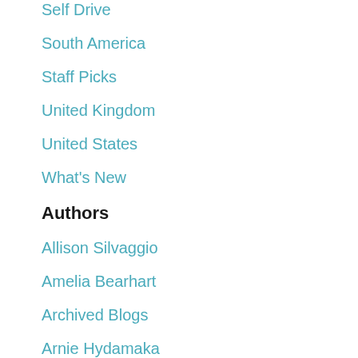Self Drive
South America
Staff Picks
United Kingdom
United States
What's New
Authors
Allison Silvaggio
Amelia Bearhart
Archived Blogs
Arnie Hydamaka
Charlene Underhill
Corina Parisien
Diane DeMare
GCTG Marketing
Ian Kalinowsky